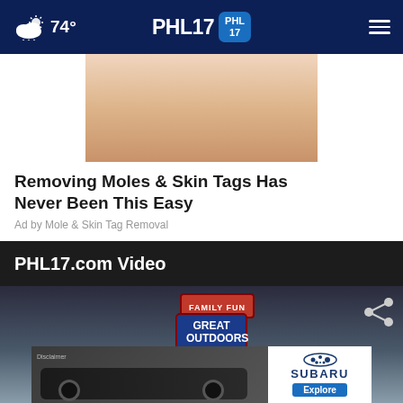74° PHL17
[Figure (photo): Partial photo of a person's shoulder/neck area, skin tone, serving as ad image for mole and skin tag removal product]
Removing Moles & Skin Tags Has Never Been This Easy
Ad by Mole & Skin Tag Removal
PHL17.com Video
[Figure (screenshot): Video player thumbnail showing outdoor signage reading 'FAMILY FUN' and 'GREAT OUTDOORS' against a grey sky background]
[Figure (photo): Bottom banner advertisement showing a dark SUV (Subaru) driving on a road, with Subaru logo and Explore button on the right side. Disclaimer text visible.]